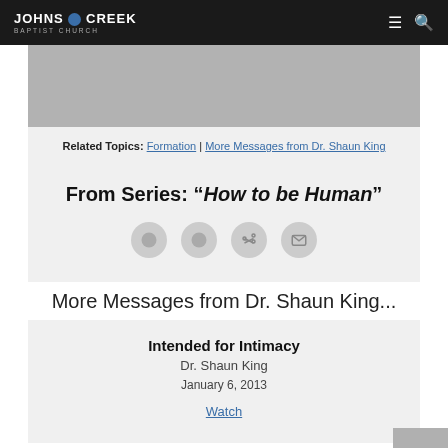Johns Creek Baptist Church
[Figure (photo): Gray placeholder image area at top of content]
Related Topics: Formation | More Messages from Dr. Shaun King
From Series: "How to be Human"
[Figure (other): Social sharing icons row: four circular gray buttons with share and email icons]
More Messages from Dr. Shaun King...
Intended for Intimacy
Dr. Shaun King
January 6, 2013
Watch